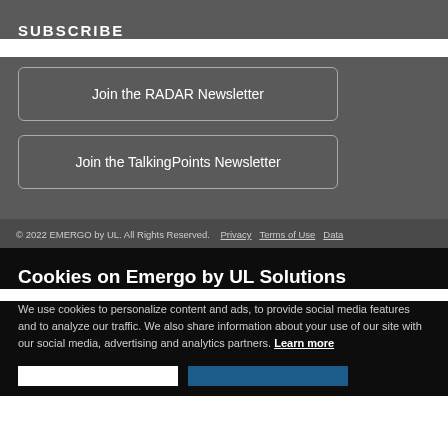SUBSCRIBE
Join the RADAR Newsletter
Join the TalkingPoints Newsletter
© 2022 EMERGO by UL. All Rights Reserved.   Privacy   Terms of Use   Data
Cookies on Emergo by UL Solutions
We use cookies to personalize content and ads, to provide social media features and to analyze our traffic. We also share information about your use of our site with our social media, advertising and analytics partners. Learn more